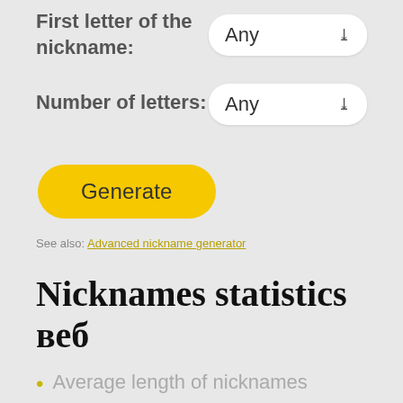First letter of the nickname:
[Figure (screenshot): Dropdown selector showing 'Any' for first letter of nickname]
Number of letters:
[Figure (screenshot): Dropdown selector showing 'Any' for number of letters]
[Figure (screenshot): Yellow 'Generate' button with rounded corners]
See also: Advanced nickname generator
Nicknames statistics веб
Average length of nicknames